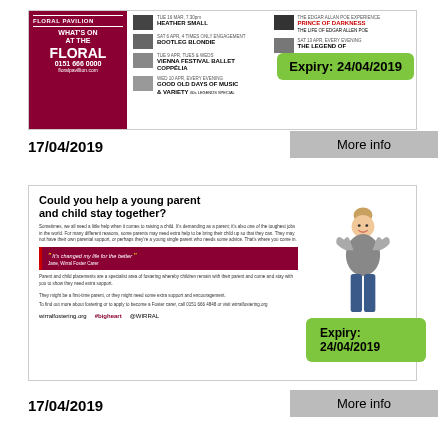[Figure (photo): Floral Pavilion advertisement showing What's On events including Heather Small, Bootleg Blondie, Vienna Festival Ballet Coppélia, Good Old Days of Music & Variety. Phone: 0151 666 0000. Website: floralpavillion.com. Green expiry badge: Expiry: 24/04/2019]
17/04/2019
More info
[Figure (photo): Wirral fostering advertisement. Headline: Could you help a young parent and child stay together? Body text about fostering young parents. Quote: It's changed my life for the better - Jane, Wirral Foster Carer. Footer: wirralfostering.org #bigheart @WIRRAL. Green expiry badge: Expiry: 24/04/2019]
17/04/2019
More info